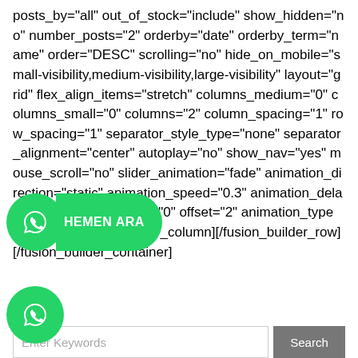posts_by="all" out_of_stock="include" show_hidden="no" number_posts="2" orderby="date" orderby_term="name" order="DESC" scrolling="no" hide_on_mobile="small-visibility,medium-visibility,large-visibility" layout="grid" flex_align_items="stretch" columns_medium="0" columns_small="0" columns="2" column_spacing="1" row_spacing="1" separator_style_type="none" separator_alignment="center" autoplay="no" show_nav="yes" mouse_scroll="no" slider_animation="fade" animation_direction="static" animation_speed="0.3" animation_delay="0.3" margin_bottom="0" offset="2" animation_type="fade" /][/fusion_builder_column][/fusion_builder_row][/fusion_builder_container]
[Figure (other): WhatsApp contact button with green circle icon and 'HEMEN ARA' label]
[Figure (other): WhatsApp floating button green circle at bottom left]
Enter Keywords / Search